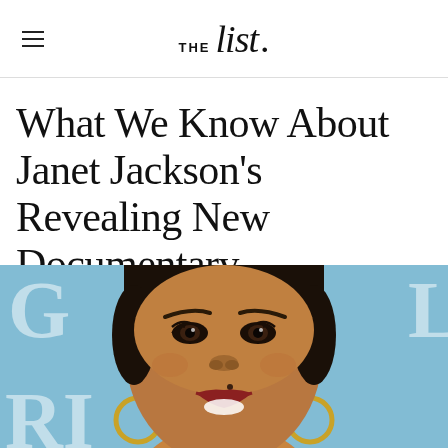THE list.
What We Know About Janet Jackson's Revealing New Documentary
[Figure (photo): Close-up photo of Janet Jackson smiling, wearing gold hoop earrings, with a blue background with partial white letters visible]